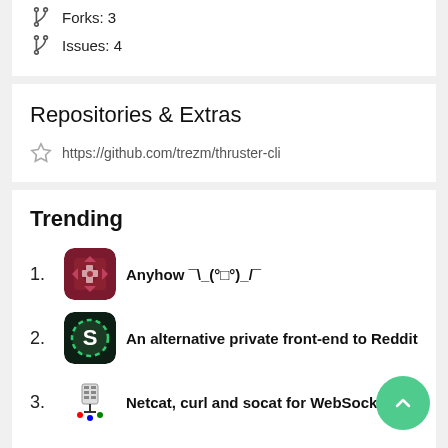Forks: 3
Issues: 4
Repositories & Extras
https://github.com/trezm/thruster-cli
Trending
1. Anyhow ¯\_(ツ)_/¯
2. An alternative private front-end to Reddit
3. Netcat, curl and socat for WebSockets